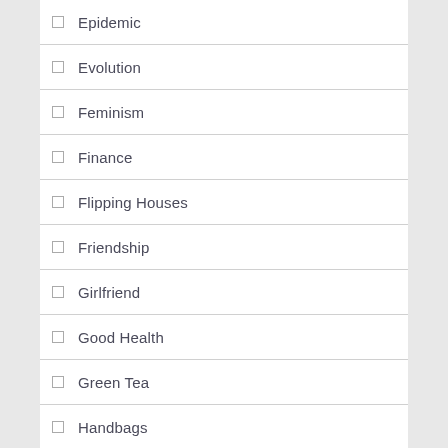Epidemic
Evolution
Feminism
Finance
Flipping Houses
Friendship
Girlfriend
Good Health
Green Tea
Handbags
Health
Health Strategy
Home
Investing
Jurisdiction